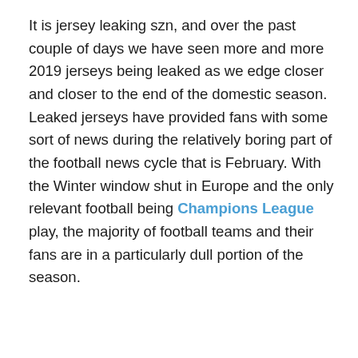It is jersey leaking szn, and over the past couple of days we have seen more and more 2019 jerseys being leaked as we edge closer and closer to the end of the domestic season. Leaked jerseys have provided fans with some sort of news during the relatively boring part of the football news cycle that is February. With the Winter window shut in Europe and the only relevant football being Champions League play, the majority of football teams and their fans are in a particularly dull portion of the season.